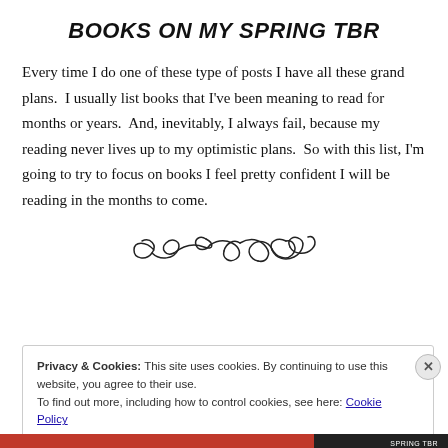BOOKS ON MY SPRING TBR
Every time I do one of these type of posts I have all these grand plans.  I usually list books that I've been meaning to read for months or years.  And, inevitably, I always fail, because my reading never lives up to my optimistic plans.  So with this list, I'm going to try to focus on books I feel pretty confident I will be reading in the months to come.
[Figure (illustration): Decorative ornamental divider with swirling flourish design]
Privacy & Cookies: This site uses cookies. By continuing to use this website, you agree to their use.
To find out more, including how to control cookies, see here: Cookie Policy
Close and accept